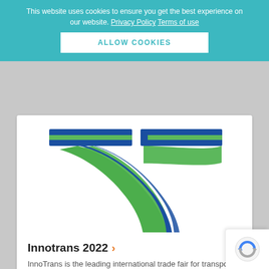This website uses cookies to ensure you get the best experience on our website. Privacy Policy Terms of use
ALLOW COOKIES
[Figure (logo): InnoTrans logo: stylized green and blue road/rail track forming a '7' or arrow shape, with horizontal blue bar at top]
Innotrans 2022 ›
InnoTrans is the leading international trade fair for transport technology and takes places every two years in Berlin. With 3,062 exhibitors from 60 countries...
2022-09-20
[Figure (other): Google reCAPTCHA badge icon (blue and grey circular arrows logo)]